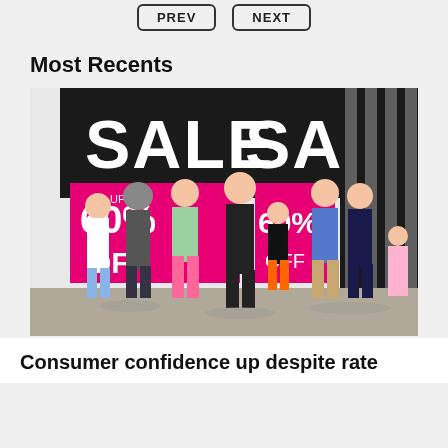PREV   NEXT
Most Recents
[Figure (photo): People walking past a storefront with large black and white sale signs and hot pink banners reading 'SALE' and '60% OFF']
Consumer confidence up despite rate